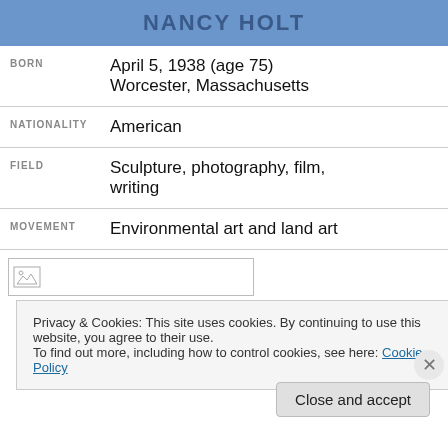NANCY HOLT
| BORN | April 5, 1938 (age 75)
Worcester, Massachusetts |
| NATIONALITY | American |
| FIELD | Sculpture, photography, film, writing |
| MOVEMENT | Environmental art and land art |
[Figure (photo): Broken image placeholder]
Privacy & Cookies: This site uses cookies. By continuing to use this website, you agree to their use.
To find out more, including how to control cookies, see here: Cookie Policy
Close and accept